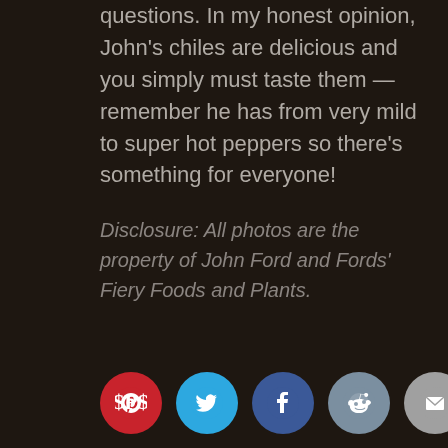questions. In my honest opinion, John's chiles are delicious and you simply must taste them — remember he has from very mild to super hot peppers so there's something for everyone!
Disclosure: All photos are the property of John Ford and Fords' Fiery Foods and Plants.
[Figure (infographic): Six social sharing icon circles in a row: Pinterest (red), Twitter (blue), Facebook (dark blue), Reddit (slate blue), Email (gray), More/Other (green)]
You may also like:
[Figure (photo): Thumbnail image with overlay text 'YOUR LUNCH' and caption 'Publish Your Lunch: How to Earn Money']
[Figure (photo): Thumbnail image with caption 'Sarah of Thyme Blog, My Favorite Foodies']